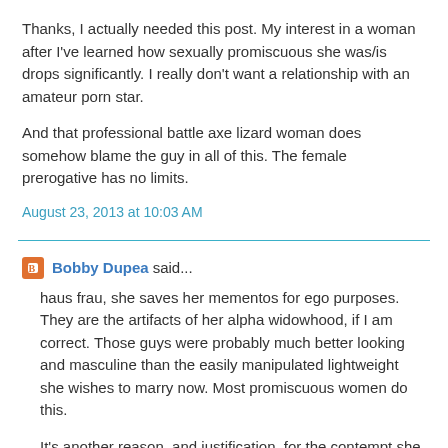Thanks, I actually needed this post. My interest in a woman after I've learned how sexually promiscuous she was/is drops significantly. I really don't want a relationship with an amateur porn star.
And that professional battle axe lizard woman does somehow blame the guy in all of this. The female prerogative has no limits.
August 23, 2013 at 10:03 AM
Bobby Dupea said...
haus frau, she saves her mementos for ego purposes. They are the artifacts of her alpha widowhood, if I am correct. Those guys were probably much better looking and masculine than the easily manipulated lightweight she wishes to marry now. Most promiscuous women do this.
It's another reason, and justification, for the contempt she will shower on the doofus she plans to marry. It will likely, as well, serve as her rationale when she conducts affairs or divorces him in the future.